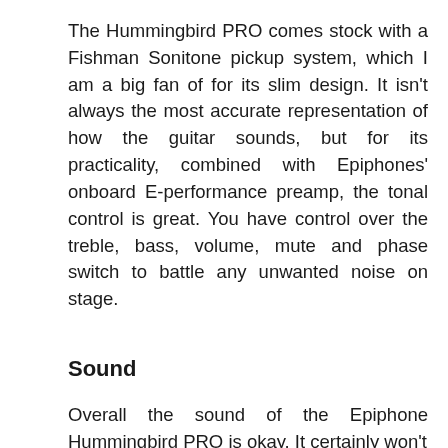The Hummingbird PRO comes stock with a Fishman Sonitone pickup system, which I am a big fan of for its slim design. It isn't always the most accurate representation of how the guitar sounds, but for its practicality, combined with Epiphones' onboard E-performance preamp, the tonal control is great. You have control over the treble, bass, volume, mute and phase switch to battle any unwanted noise on stage.
Sound
Overall the sound of the Epiphone Hummingbird PRO is okay. It certainly won't